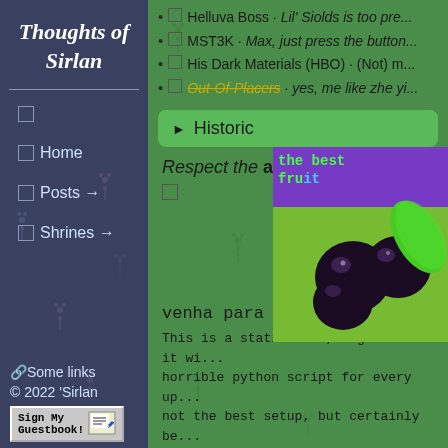Thoughts of Sirlan
🌙 His Dark Materials (HBO) · (Not) m...
🌙 MST3K · Max, just press the button...
🌙 His Dark Materials (HBO) · (Not) m...
🌙 Out-Of-Placers · yes, me like zhe yi...
▶ Historic
Respect the açaí
[Figure (photo): Image of açaí berries on a green background with purple overlay and the text 'the best fruit' in green monospace font]
venha para o Brasil :3
This is a static site, I generate it wi... horrible python script for every up... not the best setup, but certainly be... rewriting each html page manually... could use Hugo or something, but...
Home
Posts →
Shrines →
🔗Some links
© 2022 'Sirlan
Sign My Guestbook!